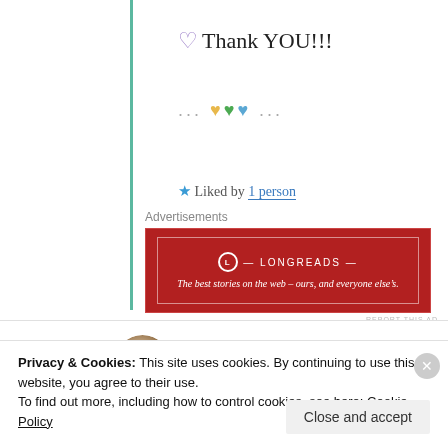💜 Thank YOU!!!
...💛💚💙...
★ Liked by 1 person
Advertisements
[Figure (other): Longreads advertisement banner: red background with white border, LONGREADS logo, text: The best stories on the web – ours, and everyone else's.]
REPORT THIS AD
CattleCapers
26th Jun 2021 at 2:40 am
Privacy & Cookies: This site uses cookies. By continuing to use this website, you agree to their use.
To find out more, including how to control cookies, see here: Cookie Policy
Close and accept